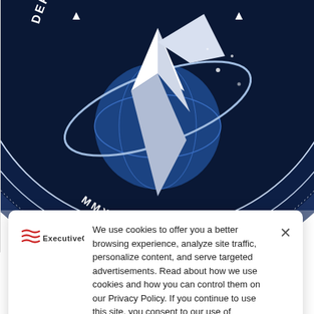[Figure (logo): US Space Force / Department of the Air Force seal — circular dark navy badge with a star, orbital rings, globe, and the text DEPARTMENT OF THE AIR FORCE around the edge and MMXIX at the bottom center. Partially cropped at the top of the page.]
NEWS / SPACE
Space Force Launches Tech Demo Mission With 2 Satellites
We use cookies to offer you a better browsing experience, analyze site traffic, personalize content, and serve targeted advertisements. Read about how we use cookies and how you can control them on our Privacy Policy. If you continue to use this site, you consent to our use of cookies.